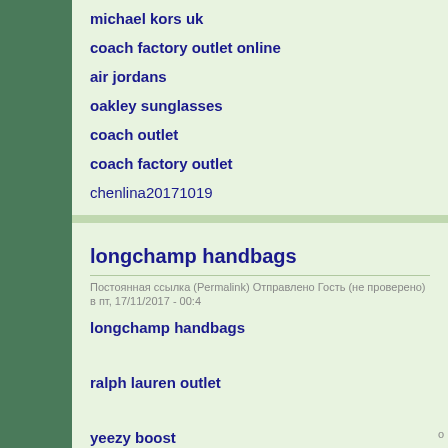michael kors uk
coach factory outlet online
air jordans
oakley sunglasses
coach outlet
coach factory outlet
chenlina20171019
longchamp handbags
Постоянная ссылка (Permalink) Отправлено Гость (не проверено) в пт, 17/11/2017 - 00:4
longchamp handbags
ralph lauren outlet
yeezy boost
michael kors outlet